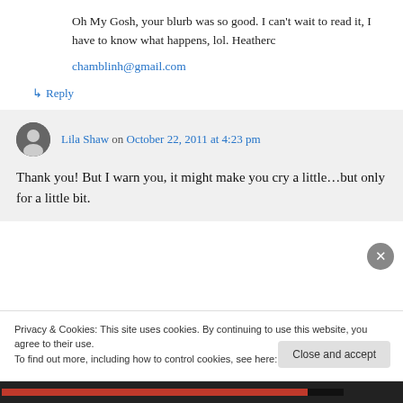Oh My Gosh, your blurb was so good. I can't wait to read it, I have to know what happens, lol. Heatherc
chamblinh@gmail.com
↳ Reply
Lila Shaw on October 22, 2011 at 4:23 pm
Thank you! But I warn you, it might make you cry a little…but only for a little bit.
Privacy & Cookies: This site uses cookies. By continuing to use this website, you agree to their use.
To find out more, including how to control cookies, see here: Cookie Policy
Close and accept